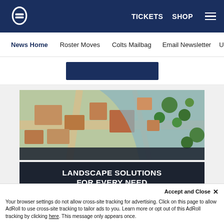[Figure (screenshot): Indianapolis Colts website header with navy blue background, Colts horseshoe logo on left, TICKETS and SHOP links and hamburger menu on right]
News Home   Roster Moves   Colts Mailbag   Email Newsletter   U
[Figure (photo): Aerial illustrated map view of a landscape/urban area with roads, buildings, and trees]
LANDSCAPE SOLUTIONS FOR EVERY NEED
LET'S GET STARTED!
MIDWEST
Accept and Close ✕
Your browser settings do not allow cross-site tracking for advertising. Click on this page to allow AdRoll to use cross-site tracking to tailor ads to you. Learn more or opt out of this AdRoll tracking by clicking here. This message only appears once.